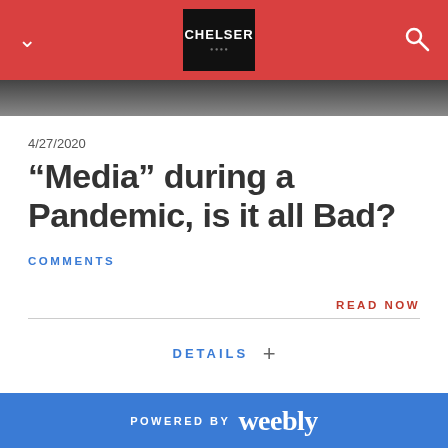CHELSER
4/27/2020
“Media” during a Pandemic, is it all Bad?
COMMENTS
READ NOW
DETAILS +
POWERED BY weebly